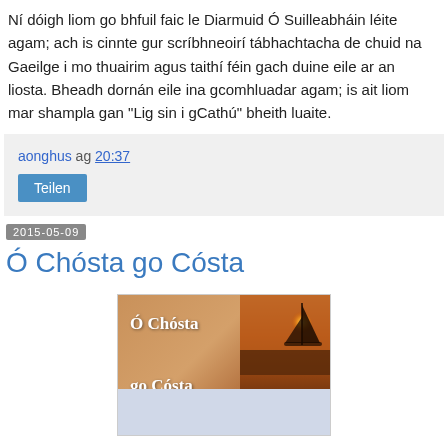Ní dóigh liom go bhfuil faic le Diarmuid Ó Suilleabháin léite agam; ach is cinnte gur scríbhneoirí tábhachtacha de chuid na Gaeilge i mo thuairim agus taithí féin gach duine eile ar an liosta. Bheadh dornán eile ina gcomhluadar agam; is ait liom mar shampla gan "Lig sin i gCathú" bheith luaite.
aonghus ag 20:37
Teilen
2015-05-09
Ó Chósta go Cósta
[Figure (illustration): Book cover for 'Ó Chósta go Cósta' showing warm brown/orange background with a sailboat at sunset on the right side and the book title text overlaid in white. The lower portion shows a lighter blue-grey strip.]